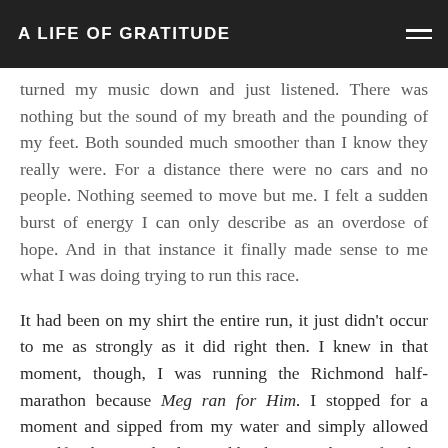A LIFE OF GRATITUDE
turned my music down and just listened. There was nothing but the sound of my breath and the pounding of my feet. Both sounded much smoother than I know they really were. For a distance there were no cars and no people. Nothing seemed to move but me. I felt a sudden burst of energy I can only describe as an overdose of hope. And in that instance it finally made sense to me what I was doing trying to run this race.
It had been on my shirt the entire run, it just didn't occur to me as strongly as it did right then. I knew in that moment, though, I was running the Richmond half-marathon because Meg ran for Him. I stopped for a moment and sipped from my water and simply allowed myself to be completely awed by the Him she ran for: his creation, the peace, the opportunity to barge through the middle of it all, grateful to Him for every